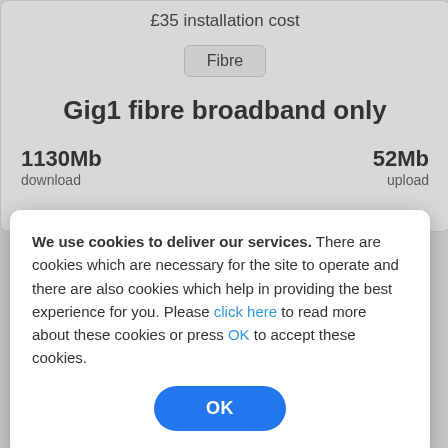£35 installation cost
Fibre
Gig1 fibre broadband only
1130Mb download   52Mb upload
We use cookies to deliver our services. There are cookies which are necessary for the site to operate and there are also cookies which help in providing the best experience for you. Please click here to read more about these cookies or press OK to accept these cookies.
OK
more details